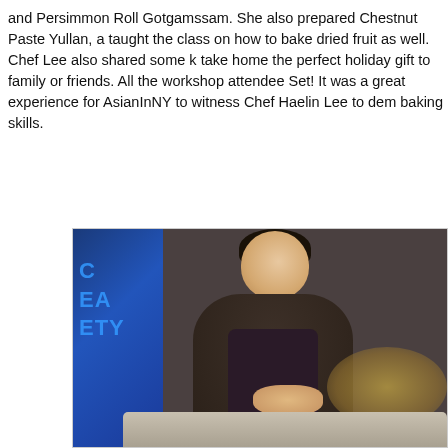and Persimmon Roll Gotgamssam. She also prepared Chestnut Paste Yullan, a taught the class on how to bake dried fruit as well. Chef Lee also shared some k take home the perfect holiday gift to family or friends. All the workshop attendee Set! It was a great experience for AsianInNY to witness Chef Haelin Lee to dem baking skills.
[Figure (photo): Chef Haelin Lee wearing a dark shirt and floral apron, working at a cooking class station. Background shows a blue display with 'Korea Society' text partially visible. Food items visible on right side of frame.]